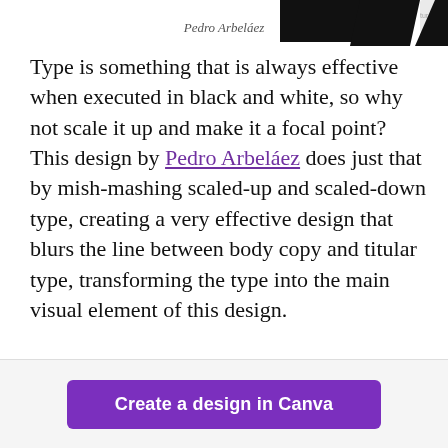[Figure (illustration): Partial black and white typographic design image cropped at the top of the page, showing large black letterforms/shapes.]
Pedro Arbeláez
Type is something that is always effective when executed in black and white, so why not scale it up and make it a focal point? This design by Pedro Arbeláez does just that by mish-mashing scaled-up and scaled-down type, creating a very effective design that blurs the line between body copy and titular type, transforming the type into the main visual element of this design.
Create a design in Canva